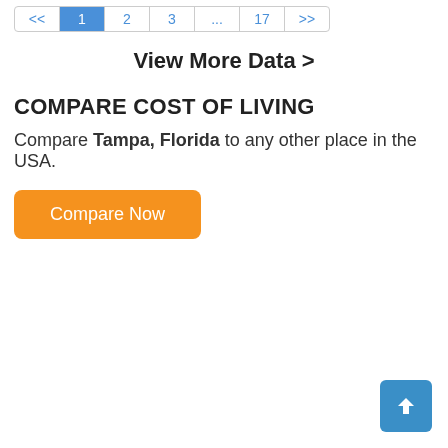<< 1 2 3 ... 17 >>
View More Data >
COMPARE COST OF LIVING
Compare Tampa, Florida to any other place in the USA.
Compare Now